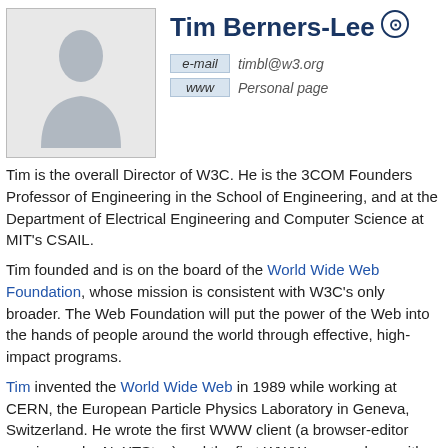Tim Berners-Lee
e-mail timbl@w3.org
www Personal page
Tim is the overall Director of W3C. He is the 3COM Founders Professor of Engineering in the School of Engineering, and at the Department of Electrical Engineering and Computer Science at MIT's CSAIL.
Tim founded and is on the board of the World Wide Web Foundation, whose mission is consistent with W3C's only broader. The Web Foundation will put the power of the Web into the hands of people around the world through effective, high-impact programs.
Tim invented the World Wide Web in 1989 while working at CERN, the European Particle Physics Laboratory in Geneva, Switzerland. He wrote the first WWW client (a browser-editor running under NeXTStep) and the first WWW server along with most of the communications software, defining URLs, HTTP and HTML. Prior to his work at CERN, Tim was a founding director of Image Computer Systems, a consultant in hardware